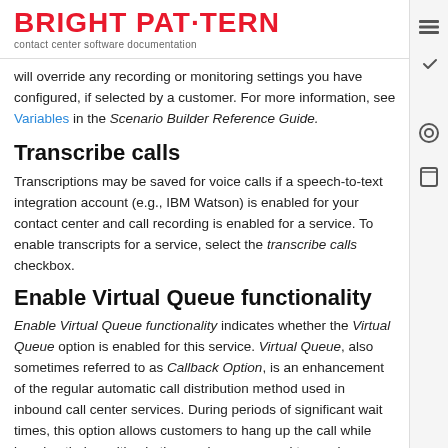BRIGHT PAT·TERN
contact center software documentation
will override any recording or monitoring settings you have configured, if selected by a customer. For more information, see Variables in the Scenario Builder Reference Guide.
Transcribe calls
Transcriptions may be saved for voice calls if a speech-to-text integration account (e.g., IBM Watson) is enabled for your contact center and call recording is enabled for a service. To enable transcripts for a service, select the transcribe calls checkbox.
Enable Virtual Queue functionality
Enable Virtual Queue functionality indicates whether the Virtual Queue option is enabled for this service. Virtual Queue, also sometimes referred to as Callback Option, is an enhancement of the regular automatic call distribution method used in inbound call center services. During periods of significant wait times, this option allows customers to hang up the call while keeping their position in the service queue and to receive a callback when it is their turn to be connected to an